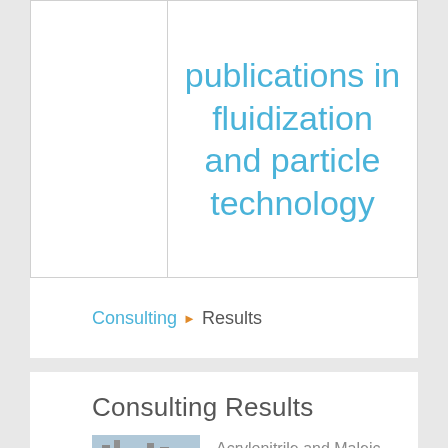publications in fluidization and particle technology
Consulting ▶ Results
Consulting Results
[Figure (photo): Industrial facility with pipes, scaffolding, and chemical processing equipment]
Acrylonitrile and Maleic